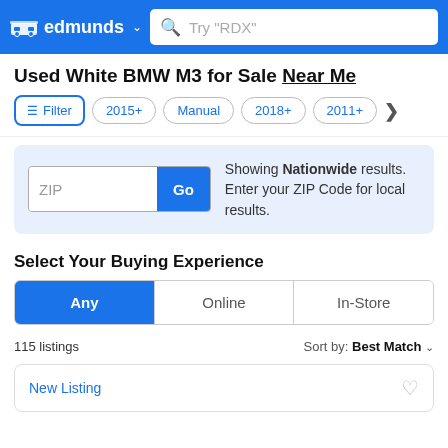edmunds — search bar: Try "RDX"
Used White BMW M3 for Sale Near Me
Filter | 2015+ | Manual | 2018+ | 2011+
ZIP Go — Showing Nationwide results. Enter your ZIP Code for local results.
Select Your Buying Experience
Any | Online | In-Store
115 listings Sort by: Best Match
New Listing